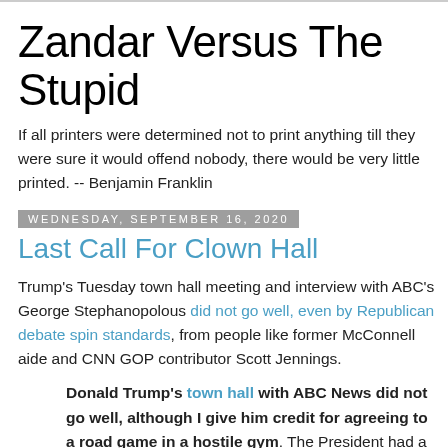Zandar Versus The Stupid
If all printers were determined not to print anything till they were sure it would offend nobody, there would be very little printed. -- Benjamin Franklin
Wednesday, September 16, 2020
Last Call For Clown Hall
Trump's Tuesday town hall meeting and interview with ABC's George Stephanopolous did not go well, even by Republican debate spin standards, from people like former McConnell aide and CNN GOP contributor Scott Jennings.
Donald Trump's town hall with ABC News did not go well, although I give him credit for agreeing to a road game in a hostile gym. The President had a few decent moments in